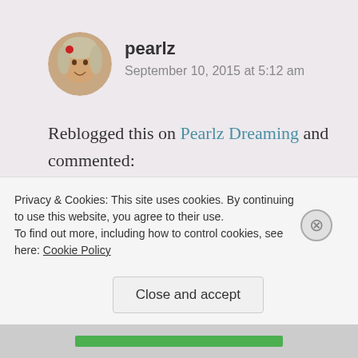pearlz
September 10, 2015 at 5:12 am
Reblogged this on Pearlz Dreaming and commented:
Sometimes poetry is unavoidable.
“There

are no

Words that will
Privacy & Cookies: This site uses cookies. By continuing to use this website, you agree to their use.
To find out more, including how to control cookies, see here: Cookie Policy
Close and accept